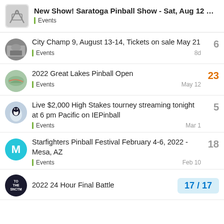New Show! Saratoga Pinball Show - Sat, Aug 12 ... Events
City Champ 9, August 13-14, Tickets on sale May 21 | Events | 8d | 6 replies
2022 Great Lakes Pinball Open | Events | May 12 | 23 replies
Live $2,000 High Stakes tourney streaming tonight at 6 pm Pacific on IEPinball | Events | Mar 1 | 5 replies
Starfighters Pinball Festival February 4-6, 2022 - Mesa, AZ | Events | Feb 10 | 18 replies
2022 24 Hour Final Battle | 17 / 17